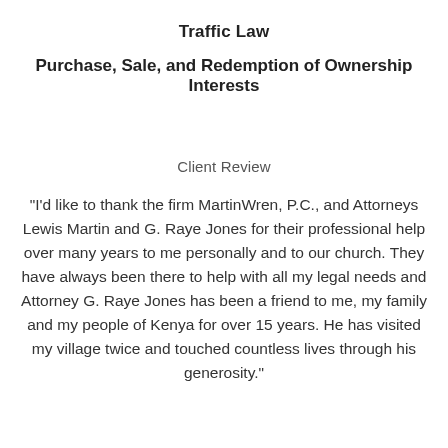Traffic Law
Purchase, Sale, and Redemption of Ownership Interests
Client Review
"I'd like to thank the firm MartinWren, P.C., and Attorneys Lewis Martin and G. Raye Jones for their professional help over many years to me personally and to our church. They have always been there to help with all my legal needs and Attorney G. Raye Jones has been a friend to me, my family and my people of Kenya for over 15 years. He has visited my village twice and touched countless lives through his generosity."